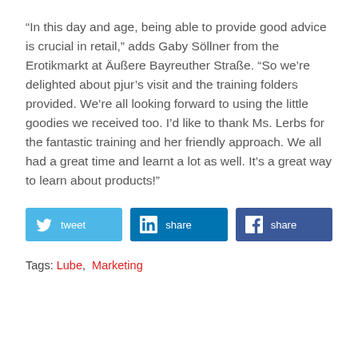“In this day and age, being able to provide good advice is crucial in retail,” adds Gaby Söllner from the Erotikmarkt at Äußere Bayreuther Straße. “So we’re delighted about pjur’s visit and the training folders provided. We’re all looking forward to using the little goodies we received too. I’d like to thank Ms. Lerbs for the fantastic training and her friendly approach. We all had a great time and learnt a lot as well. It’s a great way to learn about products!”
[Figure (other): Social sharing buttons: tweet (Twitter/light blue), share (LinkedIn/dark blue), share (Facebook/navy blue)]
Tags: Lube, Marketing